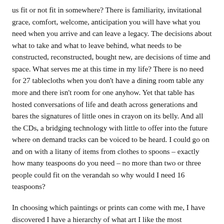us fit or not fit in somewhere? There is familiarity, invitational grace, comfort, welcome, anticipation you will have what you need when you arrive and can leave a legacy. The decisions about what to take and what to leave behind, what needs to be constructed, reconstructed, bought new, are decisions of time and space. What serves me at this time in my life? There is no need for 27 tablecloths when you don't have a dining room table any more and there isn't room for one anyhow. Yet that table has hosted conversations of life and death across generations and bares the signatures of little ones in crayon on its belly. And all the CDs, a bridging technology with little to offer into the future where on demand tracks can be voiced to be heard. I could go on and on with a litany of items from clothes to spoons – exactly how many teaspoons do you need – no more than two or three people could fit on the verandah so why would I need 16 teaspoons?
In choosing which paintings or prints can come with me, I have discovered I have a hierarchy of what art I like the most